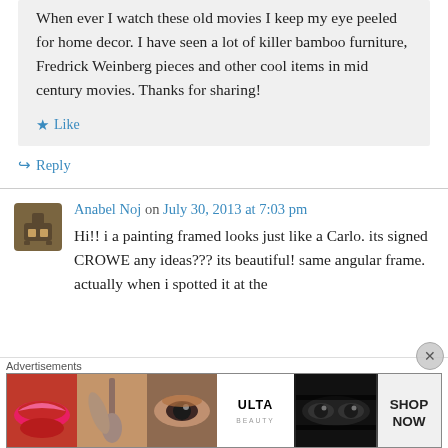When ever I watch these old movies I keep my eye peeled for home decor. I have seen a lot of killer bamboo furniture, Fredrick Weinberg pieces and other cool items in mid century movies. Thanks for sharing!
★ Like
↪ Reply
Anabel Noj on July 30, 2013 at 7:03 pm
Hi!! i a painting framed looks just like a Carlo. its signed CROWE any ideas??? its beautiful! same angular frame. actually when i spotted it at the
Advertisements
[Figure (screenshot): Ulta Beauty advertisement banner showing makeup product images including lips with red lipstick, makeup brush, eye with eyeshadow, Ulta logo, dramatic eye makeup, and SHOP NOW text]